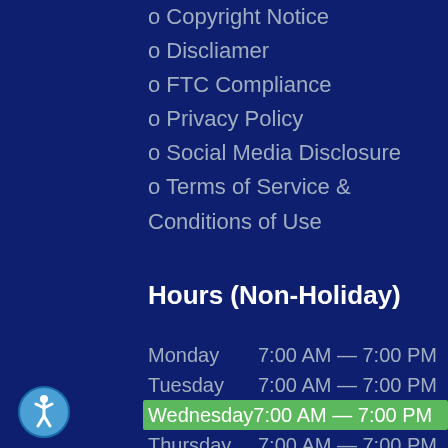o Copyright Notice
o Discliamer
o FTC Compliance
o Privacy Policy
o Social Media Disclosure
o Terms of Service & Conditions of Use
Hours (Non-Holiday)
| Day | Hours |
| --- | --- |
| Monday | 7:00 AM — 7:00 PM |
| Tuesday | 7:00 AM — 7:00 PM |
| Wednesday | 7:00 AM — 7:00 PM |
| Thursday | 7:00 AM — 7:00 PM |
| Friday | 7:00 AM — 7:00 PM |
| Saturday | 7:00 AM — 7:00 PM |
| Sunday | Closed |